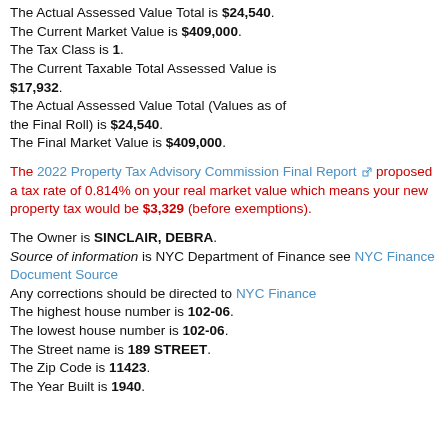The Actual Assessed Value Total is $24,540. The Current Market Value is $409,000. The Tax Class is 1. The Current Taxable Total Assessed Value is $17,932. The Actual Assessed Value Total (Values as of the Final Roll) is $24,540. The Final Market Value is $409,000.
The 2022 Property Tax Advisory Commission Final Report [external link] proposed a tax rate of 0.814% on your real market value which means your new property tax would be $3,329 (before exemptions).
The Owner is SINCLAIR, DEBRA. Source of information is NYC Department of Finance see NYC Finance Document Source Any corrections should be directed to NYC Finance The highest house number is 102-06. The lowest house number is 102-06. The Street name is 189 STREET. The Zip Code is 11423. The Year Built is 1940.